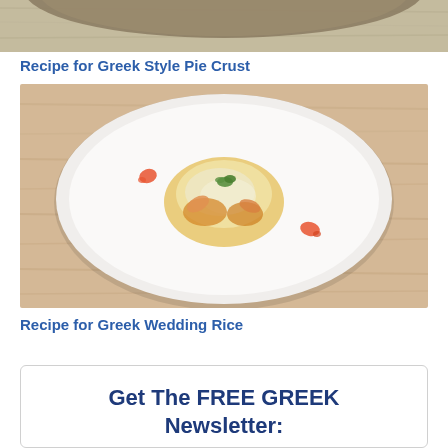[Figure (photo): Partial top view of a food item on a wooden surface, cropped at top of page]
Recipe for Greek Style Pie Crust
[Figure (photo): Overhead view of a white plate with a food dish resembling Greek Wedding Rice with sauce and garnish, on a wooden cutting board background]
Recipe for Greek Wedding Rice
Get The FREE GREEK Newsletter: